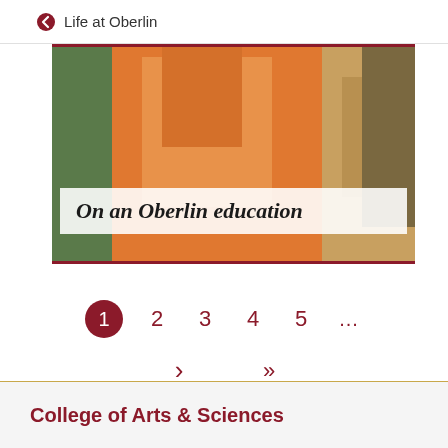Life at Oberlin
[Figure (photo): Photo of a person wearing an orange garment, with overlay text reading 'On an Oberlin education']
On an Oberlin education
1 2 3 4 5 ... > >>
College of Arts & Sciences